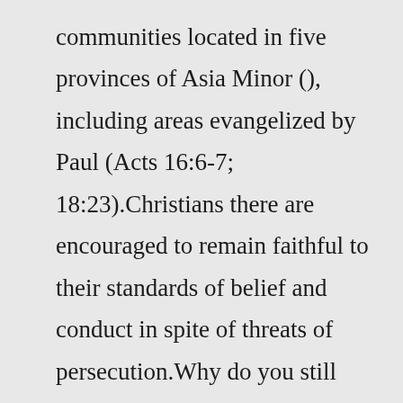communities located in five provinces of Asia Minor (), including areas evangelized by Paul (Acts 16:6-7; 18:23).Christians there are encouraged to remain faithful to their standards of belief and conduct in spite of threats of persecution.Why do you still recommend using special chars and unredable passwords, it's so obsolete. Using set of like 80 characters (small/capital letters, numbers, special chars) doesn't make